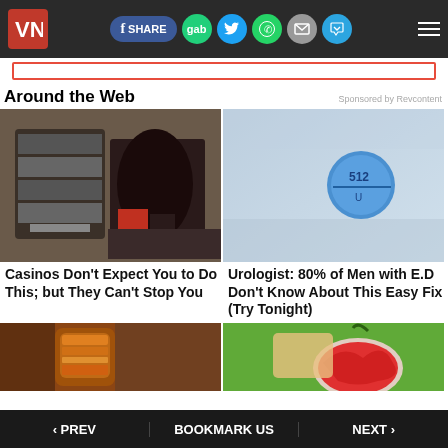VN | f SHARE gab [twitter] [whatsapp] [email] [telegram] [menu]
Around the Web
Sponsored by Revcontent
[Figure (photo): Woman standing next to an open slot machine]
[Figure (photo): Blue pill in plastic blister pack]
Casinos Don't Expect You to Do This; but They Can't Stop You
Urologist: 80% of Men with E.D Don't Know About This Easy Fix (Try Tonight)
[Figure (photo): Bottle of apple cider vinegar]
[Figure (photo): Hand holding a rambutan fruit against green background]
‹ PREV   BOOKMARK US   NEXT ›